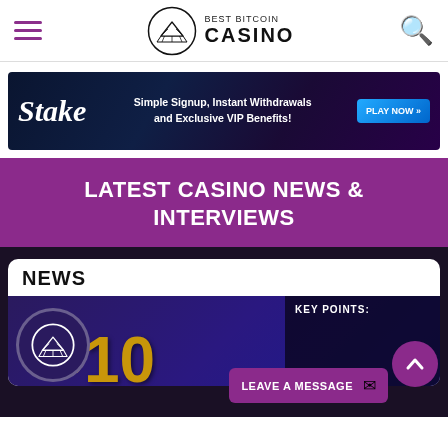Best Bitcoin Casino
[Figure (infographic): Stake casino advertisement banner: 'Simple Signup, Instant Withdrawals and Exclusive VIP Benefits!' with PLAY NOW button]
LATEST CASINO NEWS & INTERVIEWS
[Figure (screenshot): News card with BBC logo circle, gold '10' number on dark purple background, KEY POINTS label, scroll-up button, and LEAVE A MESSAGE button]